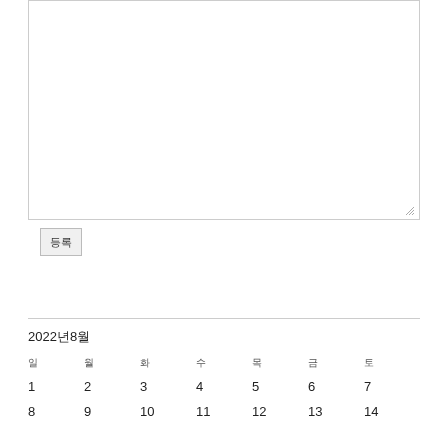[Figure (screenshot): A text input area (textarea) with a resize handle in the bottom-right corner, and a submit button below it labeled with two CJK characters.]
| 일 | 월 | 화 | 수 | 목 | 금 | 토 |
| --- | --- | --- | --- | --- | --- | --- |
| 1 | 2 | 3 | 4 | 5 | 6 | 7 |
| 8 | 9 | 10 | 11 | 12 | 13 | 14 |